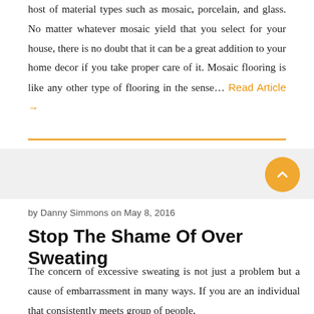host of material types such as mosaic, porcelain, and glass. No matter whatever mosaic yield that you select for your house, there is no doubt that it can be a great addition to your home decor if you take proper care of it. Mosaic flooring is like any other type of flooring in the sense… Read Article →
by Danny Simmons on May 8, 2016
Stop The Shame Of Over Sweating
The concern of excessive sweating is not just a problem but a cause of embarrassment in many ways. If you are an individual that consistently meets group of people,